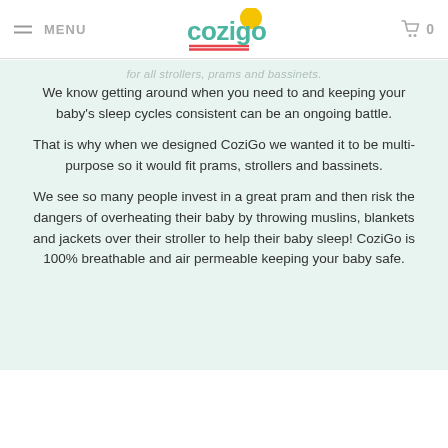MENU | CoziGo | 0
for all strollers, prams and bassinets.
We know getting around when you need to and keeping your baby's sleep cycles consistent can be an ongoing battle.
That is why when we designed CoziGo we wanted it to be multi-purpose so it would fit prams, strollers and bassinets.
We see so many people invest in a great pram and then risk the dangers of overheating their baby by throwing muslins, blankets and jackets over their stroller to help their baby sleep! CoziGo is 100% breathable and air permeable keeping your baby safe.